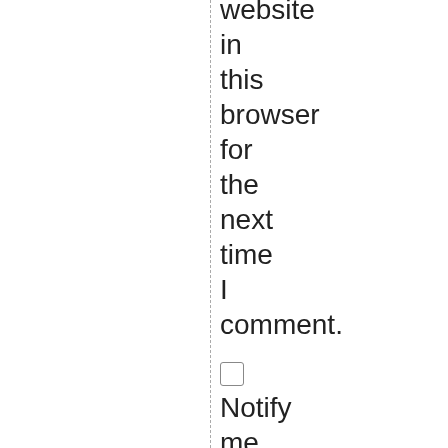website in this browser for the next time I comment.
Notify me of follow-up comments by email.
Notify me of new